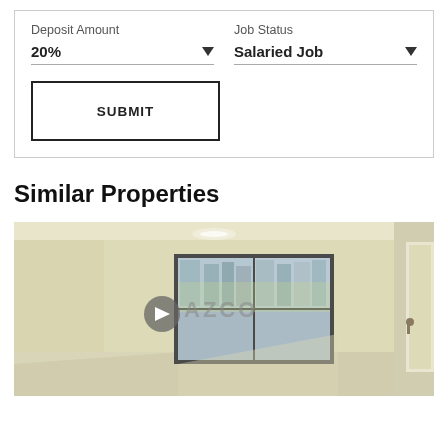Deposit Amount
20%
Job Status
Salaried Job
SUBMIT
Similar Properties
[Figure (photo): Interior room photo showing a bright empty room with light yellow walls, large window with dark frame showing exterior buildings, reflective tiled floor, and partial view of a white door on the right side. Watermark 'AZCO' visible in center.]